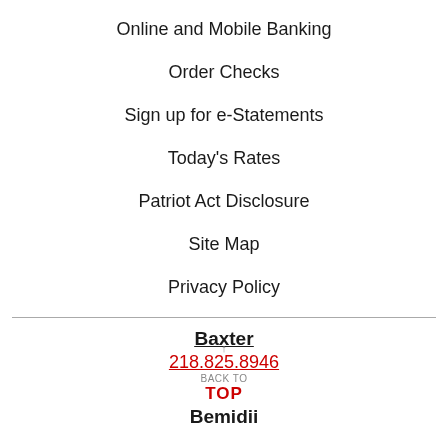Online and Mobile Banking
Order Checks
Sign up for e-Statements
Today's Rates
Patriot Act Disclosure
Site Map
Privacy Policy
Baxter
218.825.8946
BACK TO TOP
Remidii